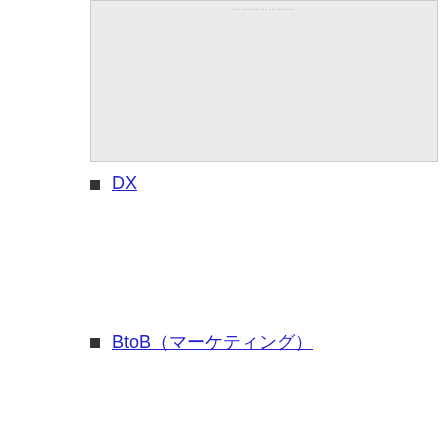[Figure (other): Gray placeholder image box with faint text label at top center]
DX
BtoB（マーケティング）